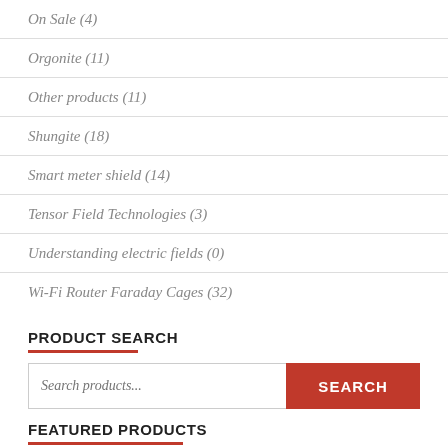On Sale (4)
Orgonite (11)
Other products (11)
Shungite (18)
Smart meter shield (14)
Tensor Field Technologies (3)
Understanding electric fields (0)
Wi-Fi Router Faraday Cages (32)
PRODUCT SEARCH
FEATURED PRODUCTS
Contactless Card RFID Secure Sleeves (pack of 3)